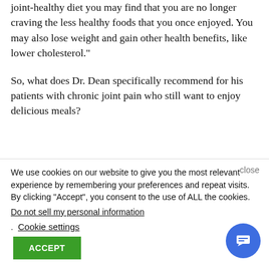joint-healthy diet you may find that you are no longer craving the less healthy foods that you once enjoyed. You may also lose weight and gain other health benefits, like lower cholesterol."
So, what does Dr. Dean specifically recommend for his patients with chronic joint pain who still want to enjoy delicious meals?
"First little quote text starts here...
We use cookies on our website to give you the most relevant experience by remembering your preferences and repeat visits. By clicking “Accept”, you consent to the use of ALL the cookies.
Do not sell my personal information.
Cookie settings
ACCEPT